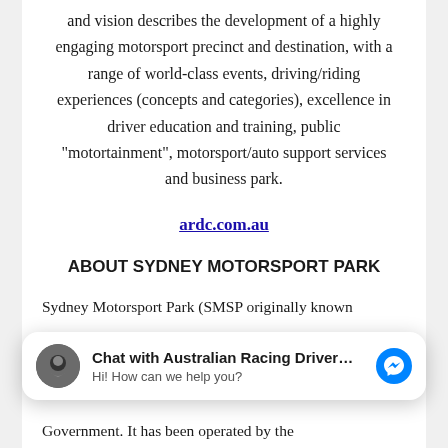and vision describes the development of a highly engaging motorsport precinct and destination, with a range of world-class events, driving/riding experiences (concepts and categories), excellence in driver education and training, public “motortainment”, motorsport/auto support services and business park.
ardc.com.au
ABOUT SYDNEY MOTORSPORT PARK
Sydney Motorsport Park (SMSP originally known
[Figure (screenshot): Facebook Messenger chat widget showing 'Chat with Australian Racing Driver...' and 'Hi! How can we help you?']
Government. It has been operated by the